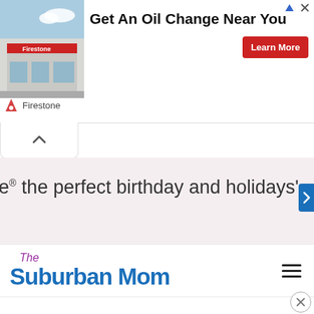[Figure (screenshot): Firestone advertisement banner with store photo, headline 'Get An Oil Change Near You', and red 'Learn More' button]
e® the perfect birthday and holidays'
[Figure (logo): The Suburban Mom logo with 'The' in purple italic and 'Suburban Mom' in bold blue]
[Figure (other): Hamburger menu icon (three horizontal lines)]
[Figure (other): Close (X) button circle at bottom right]